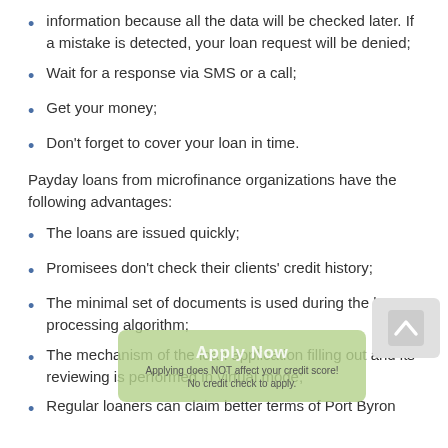information because all the data will be checked later. If a mistake is detected, your loan request will be denied;
Wait for a response via SMS or a call;
Get your money;
Don't forget to cover your loan in time.
Payday loans from microfinance organizations have the following advantages:
The loans are issued quickly;
Promisees don't check their clients' credit history;
The minimal set of documents is used during the loan processing algorithm;
The mechanism of the loan application filling out and its reviewing is performed in virtual mode;
Regular loaners can claim better terms of Port Byron